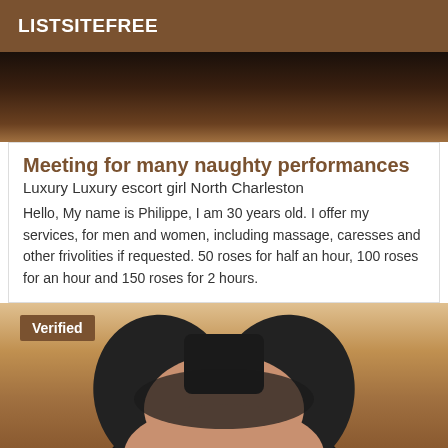LISTSITEFREE
[Figure (photo): Partial photo at top of listing card, dark tones]
Meeting for many naughty performances
Luxury Luxury escort girl North Charleston
Hello, My name is Philippe, I am 30 years old. I offer my services, for men and women, including massage, caresses and other frivolities if requested. 50 roses for half an hour, 100 roses for an hour and 150 roses for 2 hours.
[Figure (photo): Photo of person from behind wearing black clothing, with Verified badge overlay]